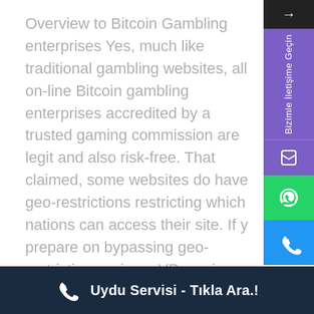Overview to Bitcoin Gambling enterprises Yes, much like traditional gambling websites, all on-line Bitcoin gambling enterprises accredited by a trusted gaming commission are legit and also risk-free. That claimed, some websites do have geo-restrictions restricting which nations can access their site. If y prepare on bypassing geo-restrictions using a VP service, take a moment to make certain that doin so doesn't damage the gambling establishment's S.
For Bitcoin, you can use Electrum, a free-and-easy Bitcoin purse solution. For sending out Ethereum
Uydu Servisi - Tıkla Ara.!